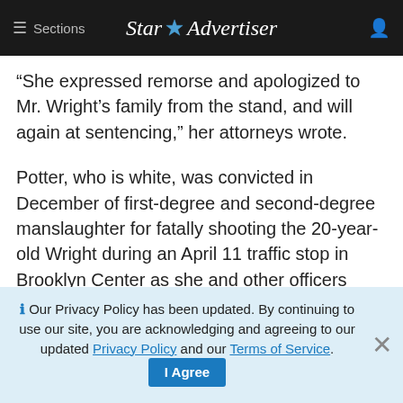≡ Sections   Star Advertiser
“She expressed remorse and apologized to Mr. Wright’s family from the stand, and will again at sentencing,” her attorneys wrote.
Potter, who is white, was convicted in December of first-degree and second-degree manslaughter for fatally shooting the 20-year-old Wright during an April 11 traffic stop in Brooklyn Center as she and other officers were trying to arrest him on an outstanding warrant for a weapons possession charge. Video of the shooting from police body
Our Privacy Policy has been updated. By continuing to use our site, you are acknowledging and agreeing to our updated Privacy Policy and our Terms of Service. I Agree